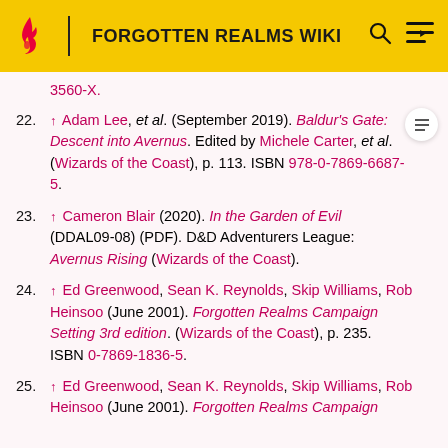FORGOTTEN REALMS WIKI
3560-X.
22. ↑ Adam Lee, et al. (September 2019). Baldur's Gate: Descent into Avernus. Edited by Michele Carter, et al. (Wizards of the Coast), p. 113. ISBN 978-0-7869-6687-5.
23. ↑ Cameron Blair (2020). In the Garden of Evil (DDAL09-08) (PDF). D&D Adventurers League: Avernus Rising (Wizards of the Coast).
24. ↑ Ed Greenwood, Sean K. Reynolds, Skip Williams, Rob Heinsoo (June 2001). Forgotten Realms Campaign Setting 3rd edition. (Wizards of the Coast), p. 235. ISBN 0-7869-1836-5.
25. ↑ Ed Greenwood, Sean K. Reynolds, Skip Williams, Rob Heinsoo (June 2001). Forgotten Realms Campaign